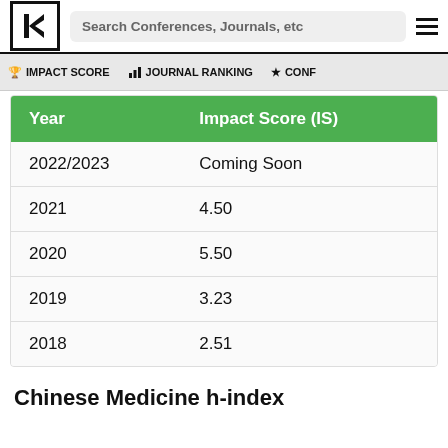Search Conferences, Journals, etc
🏆 IMPACT SCORE   📊 JOURNAL RANKING   ★ CONF
| Year | Impact Score (IS) |
| --- | --- |
| 2022/2023 | Coming Soon |
| 2021 | 4.50 |
| 2020 | 5.50 |
| 2019 | 3.23 |
| 2018 | 2.51 |
Chinese Medicine h-index